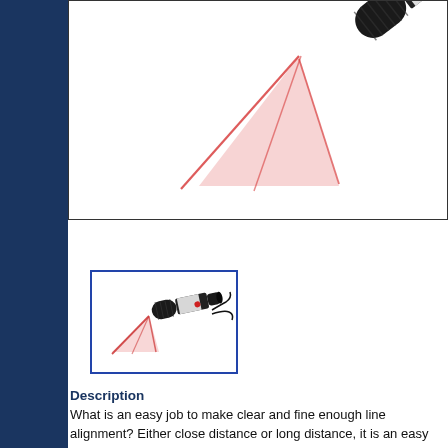[Figure (photo): Large photo of a black cylindrical laser module emitting a red triangular line laser beam, with a product label on the module body. White background.]
[Figure (photo): Thumbnail photo of a small black laser module emitting a red line laser beam, shown with wire leads. Blue border around the image.]
Description
What is an easy job to make clear and fine enough line alignment? Either close distance or long distance, it is an easy job to use Berlinlasers 635nm red line laser module. It projects high